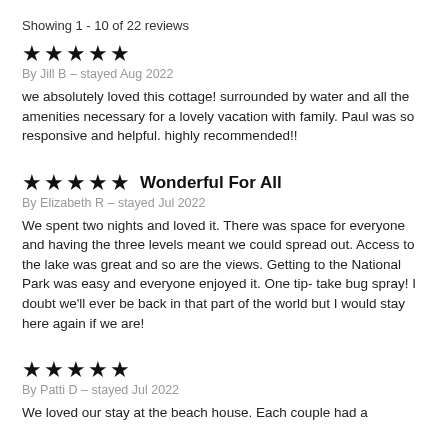Showing 1 - 10 of 22 reviews
[Figure (other): 5 black star icons]
By Jill B - stayed Aug 2022
we absolutely loved this cottage! surrounded by water and all the amenities necessary for a lovely vacation with family. Paul was so responsive and helpful. highly recommended!!
[Figure (other): 5 black star icons with title Wonderful For All]
By Elizabeth R - stayed Jul 2022
We spent two nights and loved it. There was space for everyone and having the three levels meant we could spread out. Access to the lake was great and so are the views. Getting to the National Park was easy and everyone enjoyed it. One tip- take bug spray! I doubt we'll ever be back in that part of the world but I would stay here again if we are!
[Figure (other): 5 black star icons]
By Patti D - stayed Jul 2022
We loved our stay at the beach house. Each couple had a